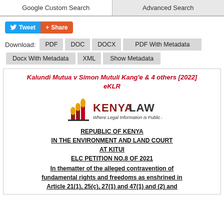Google Custom Search | Advanced Search
Tweet | Share
Download: PDF | DOC | DOCX | PDF With Metadata | Docx With Metadata | XML | Show Metadata
Kalundi Mutua v Simon Mutuli Kang'e & 4 others [2022] eKLR
[Figure (logo): Kenya Law logo - flames with pillars icon, text 'KENYA LAW Where Legal Information is Public Knowledge']
REPUBLIC OF KENYA
IN THE ENVIRONMENT AND LAND COURT
AT KITUI
ELC PETITION NO.8 OF 2021
In thematter of the alleged contravention of fundamental rights and freedoms as enshrined in Article 21(1), 25(c), 27(1) and 47(1) and (2) and